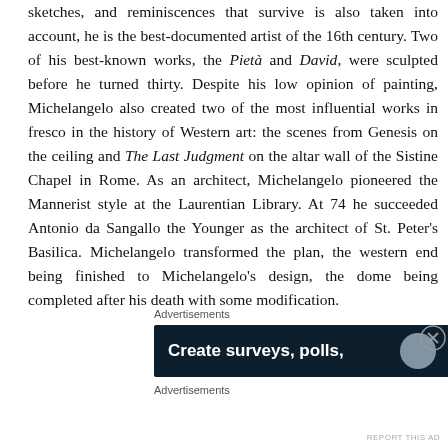sketches, and reminiscences that survive is also taken into account, he is the best-documented artist of the 16th century. Two of his best-known works, the Pietà and David, were sculpted before he turned thirty. Despite his low opinion of painting, Michelangelo also created two of the most influential works in fresco in the history of Western art: the scenes from Genesis on the ceiling and The Last Judgment on the altar wall of the Sistine Chapel in Rome. As an architect, Michelangelo pioneered the Mannerist style at the Laurentian Library. At 74 he succeeded Antonio da Sangallo the Younger as the architect of St. Peter's Basilica. Michelangelo transformed the plan, the western end being finished to Michelangelo's design, the dome being completed after his death with some modification.
Advertisements
[Figure (other): Advertisement banner with dark navy background showing text 'Create surveys, polls,' in white bold font with a light blue circle on the right side.]
Advertisements